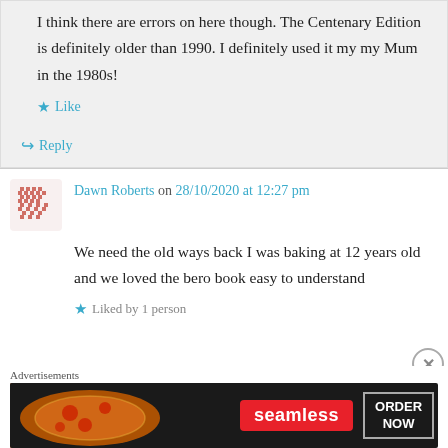I think there are errors on here though. The Centenary Edition is definitely older than 1990. I definitely used it my my Mum in the 1980s!
Like
Reply
Dawn Roberts on 28/10/2020 at 12:27 pm
We need the old ways back I was baking at 12 years old and we loved the bero book easy to understand
Liked by 1 person
Advertisements
[Figure (other): Seamless food delivery advertisement banner showing pizza with 'seamless' logo and 'ORDER NOW' button]